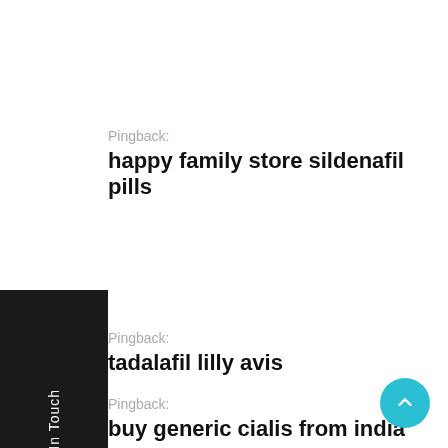Pingback:
happy family store sildenafil pills
Pingback:
tadalafil lilly avis
Pingback:
buy generic cialis from india